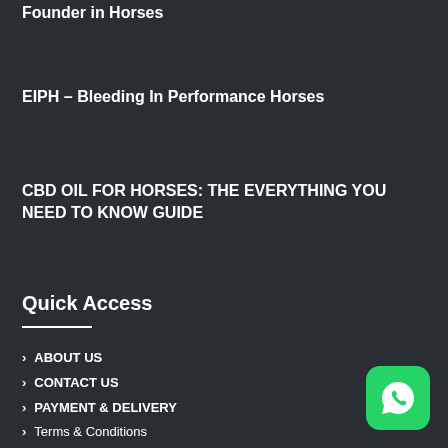Founder in Horses
EIPH – Bleeding In Performance Horses
CBD OIL FOR HORSES: THE EVERYTHING YOU NEED TO KNOW GUIDE
Quick Access
ABOUT US
CONTACT US
PAYMENT & DELIVERY
Terms & Conditions